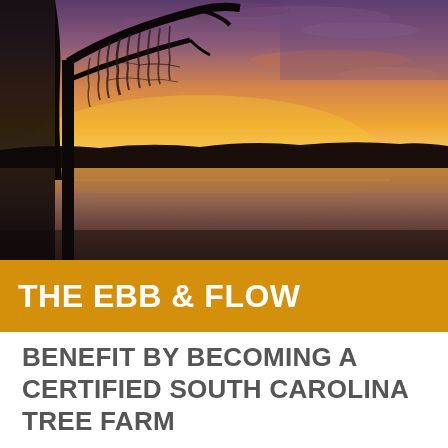[Figure (photo): Sunset landscape photo showing a silhouette of a tree with Spanish moss on the left, a calm water body (lake or river) reflecting warm orange and purple sky tones at dusk]
THE EBB & FLOW
BENEFIT BY BECOMING A CERTIFIED SOUTH CAROLINA TREE FARM